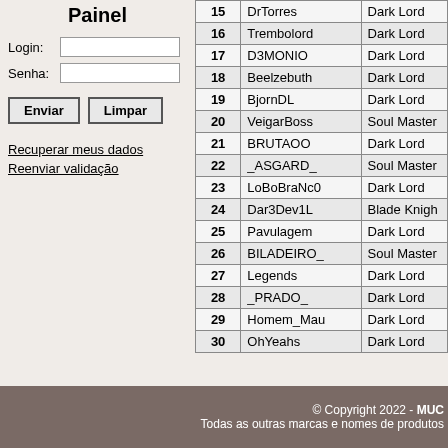Painel
Login: [input] Senha: [input]
Enviar | Limpar
Recuperar meus dados
Reenviar validação
| # | Name | Class |
| --- | --- | --- |
| 15 | DrTorres | Dark Lord |
| 16 | Trembolord | Dark Lord |
| 17 | D3MONIO | Dark Lord |
| 18 | Beelzebuth | Dark Lord |
| 19 | BjornDL | Dark Lord |
| 20 | VeigarBoss | Soul Master |
| 21 | BRUTAOO | Dark Lord |
| 22 | _ASGARD_ | Soul Master |
| 23 | LoBoBraNc0 | Dark Lord |
| 24 | Dar3Dev1L | Blade Knight |
| 25 | Pavulagem | Dark Lord |
| 26 | BILADEIRO_ | Soul Master |
| 27 | Legends | Dark Lord |
| 28 | _PRADO_ | Dark Lord |
| 29 | Homem_Mau | Dark Lord |
| 30 | OhYeahs | Dark Lord |
<< Anterior
© Copyright 2022 - MUC... Todas as outras marcas e nomes de produtos...